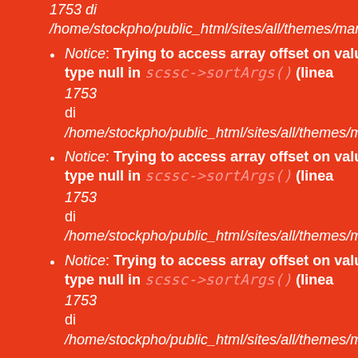1753 di /home/stockpho/public_html/sites/all/themes/martm (truncated)
Notice: Trying to access array offset on value of type null in scssc->sortArgs() (linea 1753 di /home/stockpho/public_html/sites/all/themes/martm (truncated)
Notice: Trying to access array offset on value of type null in scssc->sortArgs() (linea 1753 di /home/stockpho/public_html/sites/all/themes/martm (truncated)
Notice: Trying to access array offset on value of type null in scssc->sortArgs() (linea 1753 di /home/stockpho/public_html/sites/all/themes/martm (truncated)
Notice: Trying to access array offset on value of type null in scssc->sortArgs() (linea 1753 di /home/stockpho/public_html/sites/all/themes/martm (truncated)